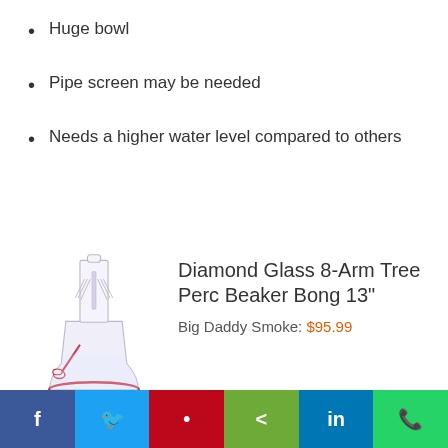Huge bowl
Pipe screen may be needed
Needs a higher water level compared to others
[Figure (photo): Glass beaker bong with tree percolator, 13 inches tall, with pink/red accents on the downstem and base ring]
Diamond Glass 8-Arm Tree Perc Beaker Bong 13"
Big Daddy Smoke: $95.99